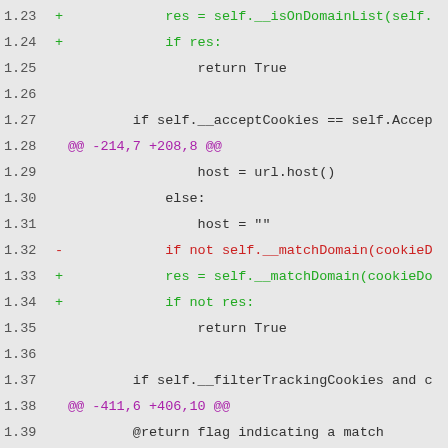Code diff showing Python source changes, lines 1.23-1.42+
[Figure (screenshot): Code diff view showing added/removed lines in Python source code with green additions, red deletions, and purple hunk headers]